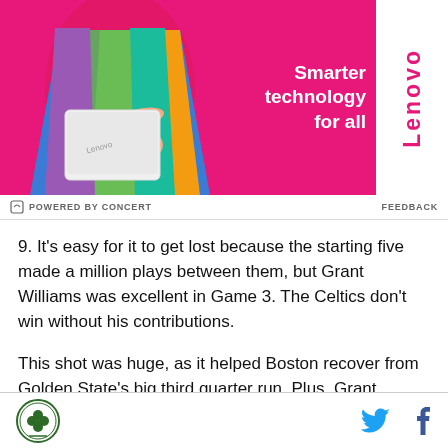[Figure (photo): Lenovo advertisement banner with a person in a colorful outfit holding a white laptop. Pink background. Text reads 'Smarter technology for all' with Lenovo logo badge on the right.]
POWERED BY CONCERT   FEEDBACK
9. It's easy for it to get lost because the starting five made a million plays between them, but Grant Williams was excellent in Game 3. The Celtics don't win without his contributions.
This shot was huge, as it helped Boston recover from Golden State's big third quarter run. Plus, Grant
Celtics logo | Twitter | Facebook